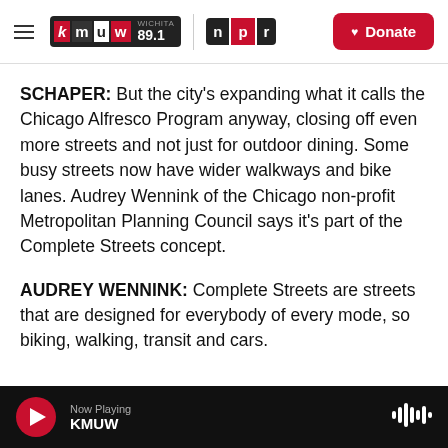KMUW Wichita 89.1 / NPR — Donate
SCHAPER: But the city's expanding what it calls the Chicago Alfresco Program anyway, closing off even more streets and not just for outdoor dining. Some busy streets now have wider walkways and bike lanes. Audrey Wennink of the Chicago non-profit Metropolitan Planning Council says it's part of the Complete Streets concept.
AUDREY WENNINK: Complete Streets are streets that are designed for everybody of every mode, so biking, walking, transit and cars.
Now Playing KMUW